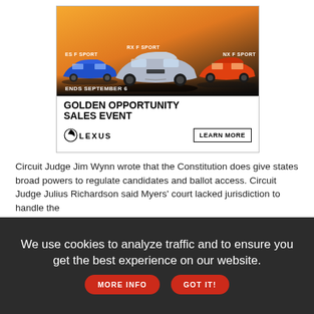[Figure (photo): Lexus advertisement showing three Lexus F Sport vehicles (ES F Sport in blue, RX F Sport in silver, NX F Sport in orange) against a golden sunset background. Text reads 'ENDS SEPTEMBER 6' and 'GOLDEN OPPORTUNITY SALES EVENT' with Lexus logo and 'LEARN MORE' button.]
Circuit Judge Jim Wynn wrote that the Constitution does give states broad powers to regulate candidates and ballot access. Circuit Judge Julius Richardson said Myers' court lacked jurisdiction to handle the
We use cookies to analyze traffic and to ensure you get the best experience on our website. MORE INFO GOT IT!